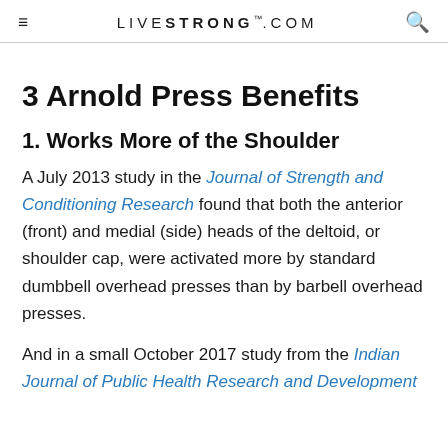≡  LIVESTRONG.COM  🔍
3 Arnold Press Benefits
1. Works More of the Shoulder
A July 2013 study in the Journal of Strength and Conditioning Research found that both the anterior (front) and medial (side) heads of the deltoid, or shoulder cap, were activated more by standard dumbbell overhead presses than by barbell overhead presses.
And in a small October 2017 study from the Indian Journal of Public Health Research and Development